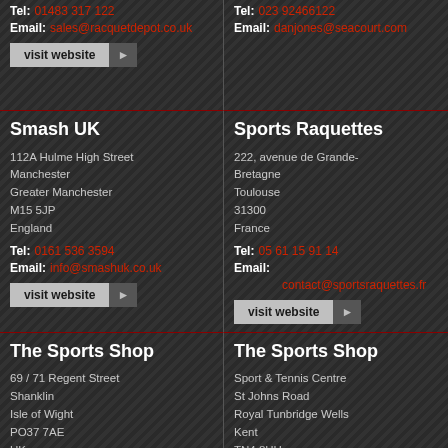Tel: 01483 317 122
Email: sales@racquetdepot.co.uk
Tel: 023 92466122
Email: danjones@seacourt.com
Smash UK
112A Hulme High Street
Manchester
Greater Manchester
M15 5JP
England
Tel: 0161 536 3594
Email: info@smashuk.co.uk
Sports Raquettes
222, avenue de Grande-Bretagne
Toulouse
31300
France
Tel: 05 61 15 91 14
Email: contact@sportsraquettes.fr
The Sports Shop
69 / 71 Regent Street
Shanklin
Isle of Wight
PO37 7AE
UK
The Sports Shop
Sport & Tennis Centre
St Johns Road
Royal Tunbridge Wells
Kent
TN4 8HH